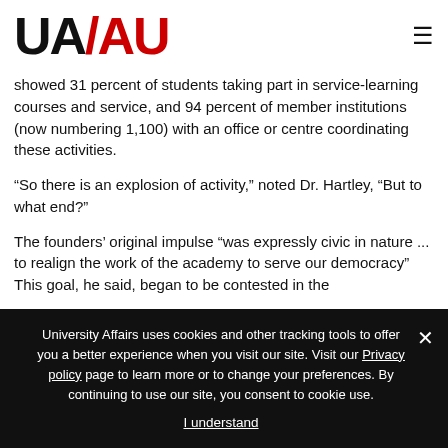UA/AU logo and navigation menu
showed 31 percent of students taking part in service-learning courses and service, and 94 percent of member institutions (now numbering 1,100) with an office or centre coordinating these activities.
“So there is an explosion of activity,” noted Dr. Hartley, “But to what end?”
The founders’ original impulse “was expressly civic in nature ... to realign the work of the academy to serve our democracy” This goal, he said, began to be contested in the
University Affairs uses cookies and other tracking tools to offer you a better experience when you visit our site. Visit our Privacy policy page to learn more or to change your preferences. By continuing to use our site, you consent to cookie use.
I understand